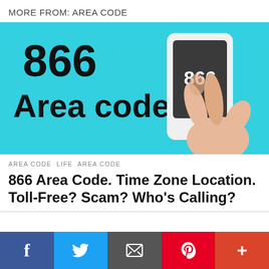MORE FROM: AREA CODE
[Figure (illustration): Cyan/turquoise background illustration showing '866 Area code' text in bold black on the left, and a hand holding a phone with '866' displayed on its screen on the right.]
AREA CODE  LIFE  AREA CODE
866 Area Code. Time Zone Location. Toll-Free? Scam? Who's Calling?
[Figure (infographic): Social sharing bar with Facebook, Twitter, Email, Pinterest, and More buttons.]